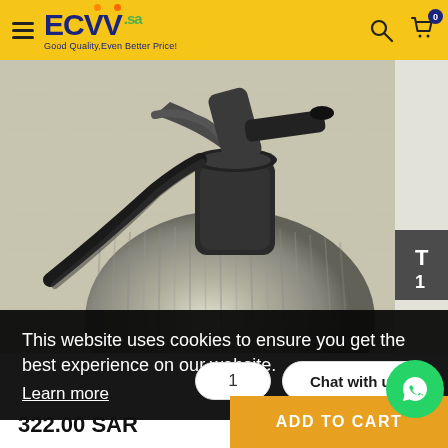[Figure (logo): ECVV.sa logo with tagline 'Good Quality, Even Better Price!']
[Figure (photo): Close-up photo of a glass siphon bottle with black pump/lever mechanism, set against a light stone background]
This website uses cookies to ensure you get the best experience on our website.
Learn more
1
Chat with us
322.00 SAR
ADD TO CART